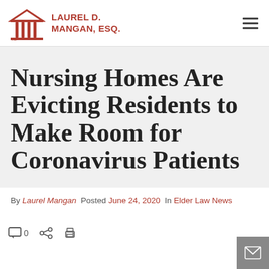LAUREL D. MANGAN, ESQ.
Nursing Homes Are Evicting Residents to Make Room for Coronavirus Patients
By Laurel Mangan Posted June 24, 2020 In Elder Law News